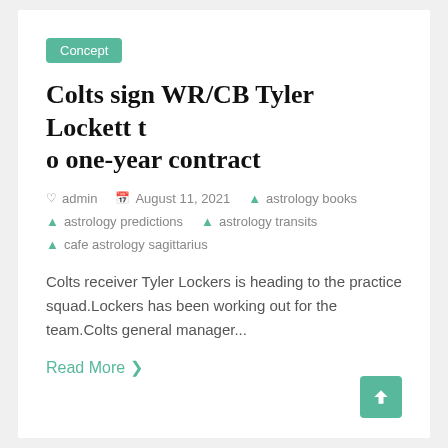Concept
Colts sign WR/CB Tyler Lockett to one-year contract
admin   August 11, 2021   astrology books   astrology predictions   astrology transits   cafe astrology sagittarius
Colts receiver Tyler Lockers is heading to the practice squad.Lockers has been working out for the team.Colts general manager...
Read More >